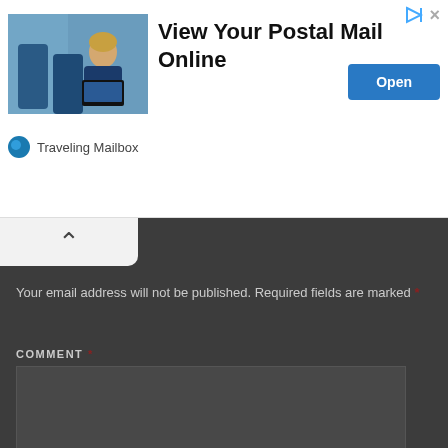[Figure (screenshot): Advertisement banner: photo of woman on airplane using laptop, with headline 'View Your Postal Mail Online', Open button, and Traveling Mailbox branding]
[Figure (screenshot): Scroll-to-top tab with upward caret arrow icon, white rounded tab on dark background]
Your email address will not be published. Required fields are marked *
COMMENT *
[Figure (screenshot): Comment text area input field, dark background]
[Figure (screenshot): Top button in teal/dark green color with text 'Top']
NAME *
[Figure (screenshot): Name input field, dark background]